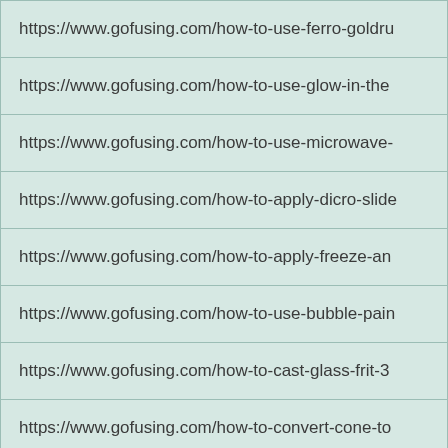| https://www.gofusing.com/how-to-use-ferro-goldru |
| https://www.gofusing.com/how-to-use-glow-in-the |
| https://www.gofusing.com/how-to-use-microwave- |
| https://www.gofusing.com/how-to-apply-dicro-slide |
| https://www.gofusing.com/how-to-apply-freeze-an |
| https://www.gofusing.com/how-to-use-bubble-pain |
| https://www.gofusing.com/how-to-cast-glass-frit-3 |
| https://www.gofusing.com/how-to-convert-cone-to |